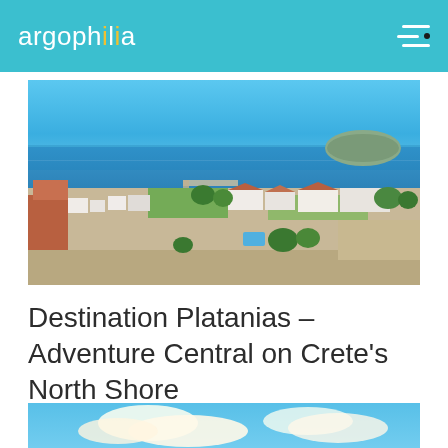argophilia
[Figure (photo): Aerial view of Platanias, Crete, showing white buildings, terracotta rooftops, lush greenery, a harbor, blue Mediterranean sea, and an island in the distance under a clear blue sky.]
Destination Platanias – Adventure Central on Crete's North Shore
[Figure (photo): Partial view of a blue sky with white clouds over what appears to be a coastal or Mediterranean landscape.]